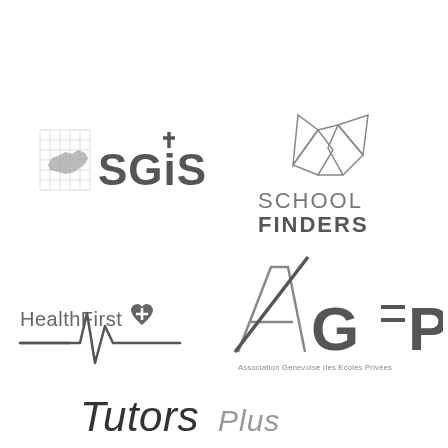[Figure (logo): SGIS logo with Swiss map grid background and bold SGIS lettering with cross]
[Figure (logo): School Finders logo with geometric butterfly/crystal shape and text SCHOOL FINDERS]
[Figure (logo): HealthFirst logo with heartbeat ECG line and heart with plus symbol]
[Figure (logo): AGEP logo - Association Genevoise des Ecoles Privees with large stylized A and geometric letters]
[Figure (logo): TutorsPlus logo with italic Tutors in serif and Plus in sans-serif]